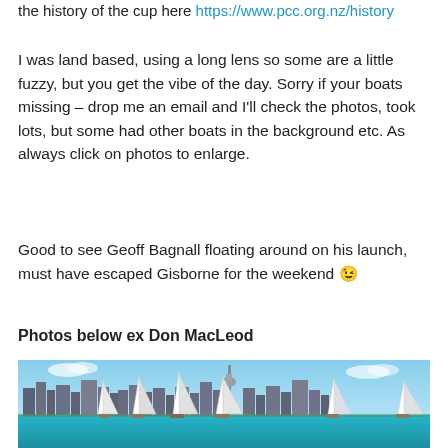the history of the cup here https://www.pcc.org.nz/history
I was land based, using a long lens so some are a little fuzzy, but you get the vibe of the day. Sorry if your boats missing – drop me an email and I'll check the photos, took lots, but some had other boats in the background etc. As always click on photos to enlarge.
Good to see Geoff Bagnall floating around on his launch, must have escaped Gisborne for the weekend 😉
Photos below ex Don MacLeod
[Figure (photo): Sailing race with multiple sailboats on blue water in front of Auckland city skyline including the Sky Tower, on a sunny day.]